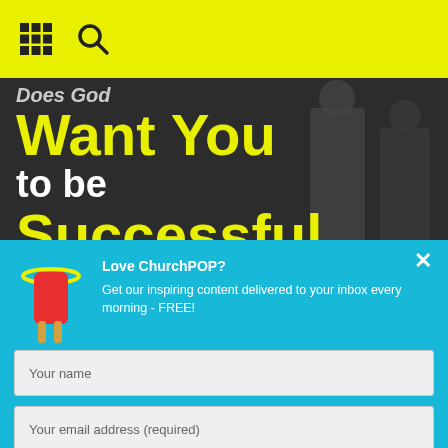[Figure (photo): Black and white photo of people holding canes/staffs with large yellow and white text overlay reading 'Does God Want You to be Successful']
Does God Want You to be Successful
[Figure (logo): ChurchPOP popsicle logo icon - red popsicle with yellow halo]
Love ChurchPOP?
Get our inspiring content delivered to your inbox every morning - FREE!
Your name
Your email address (required)
Sign me up!